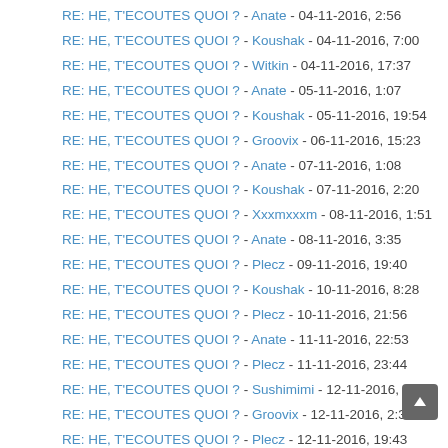RE: HE, T'ECOUTES QUOI ? - Anate - 04-11-2016, 2:56
RE: HE, T'ECOUTES QUOI ? - Koushak - 04-11-2016, 7:00
RE: HE, T'ECOUTES QUOI ? - Witkin - 04-11-2016, 17:37
RE: HE, T'ECOUTES QUOI ? - Anate - 05-11-2016, 1:07
RE: HE, T'ECOUTES QUOI ? - Koushak - 05-11-2016, 19:54
RE: HE, T'ECOUTES QUOI ? - Groovix - 06-11-2016, 15:23
RE: HE, T'ECOUTES QUOI ? - Anate - 07-11-2016, 1:08
RE: HE, T'ECOUTES QUOI ? - Koushak - 07-11-2016, 2:20
RE: HE, T'ECOUTES QUOI ? - Xxxmxxxm - 08-11-2016, 1:51
RE: HE, T'ECOUTES QUOI ? - Anate - 08-11-2016, 3:35
RE: HE, T'ECOUTES QUOI ? - Plecz - 09-11-2016, 19:40
RE: HE, T'ECOUTES QUOI ? - Koushak - 10-11-2016, 8:28
RE: HE, T'ECOUTES QUOI ? - Plecz - 10-11-2016, 21:56
RE: HE, T'ECOUTES QUOI ? - Anate - 11-11-2016, 22:53
RE: HE, T'ECOUTES QUOI ? - Plecz - 11-11-2016, 23:44
RE: HE, T'ECOUTES QUOI ? - Sushimimi - 12-11-2016, 1:37
RE: HE, T'ECOUTES QUOI ? - Groovix - 12-11-2016, 2:30
RE: HE, T'ECOUTES QUOI ? - Plecz - 12-11-2016, 19:43
RE: HE, T'ECOUTES QUOI ? - Anate - 17-11-2016, 18:05
RE: HE, T'ECOUTES QUOI ? - Koushak - 18-11-2016, 5:17
RE: HE, T'ECOUTES QUOI ? - Groovix - 19-11-2016, 18:06
RE: HE, T'ECOUTES QUOI ? - Anate - 21-11-2016, 1:01